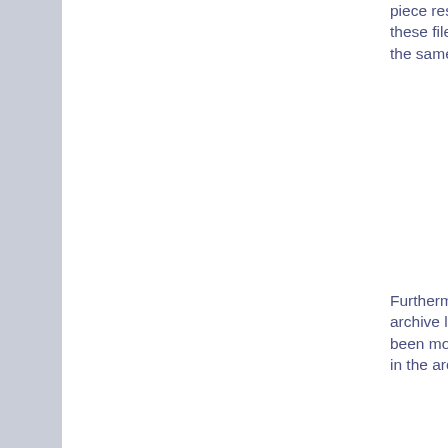piece resides in '/backups/PROD' these files need to be copied into the same directory on host B.
Furthermore also ensure than all archive log backups have also been moved and any archive logs in the archive log directory